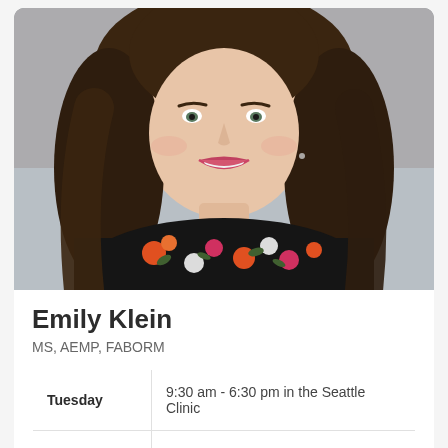[Figure (photo): Headshot photo of Emily Klein, a woman with long brown hair, smiling, wearing a black floral dress with orange, pink, and white flowers. Background appears to be an outdoor or brick setting. The photo is cropped to show head and upper torso.]
Emily Klein
MS, AEMP, FABORM
| Tuesday | 9:30 am - 6:30 pm in the Seattle Clinic |
|  |  |